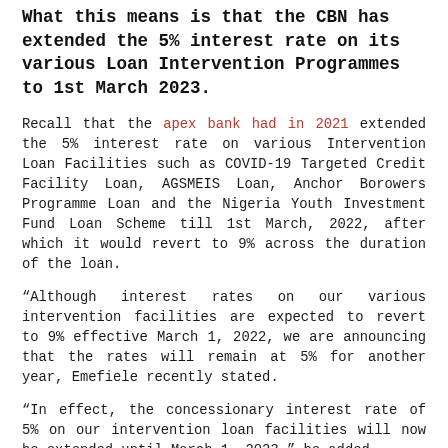What this means is that the CBN has extended the 5% interest rate on its various Loan Intervention Programmes to 1st March 2023.
Recall that the apex bank had in 2021 extended the 5% interest rate on various Intervention Loan Facilities such as COVID-19 Targeted Credit Facility Loan, AGSMEIS Loan, Anchor Borowers Programme Loan and the Nigeria Youth Investment Fund Loan Scheme till 1st March, 2022, after which it would revert to 9% across the duration of the loan.
“Although interest rates on our various intervention facilities are expected to revert to 9% effective March 1, 2022, we are announcing that the rates will remain at 5% for another year, Emefiele recently stated.
“In effect, the concessionary interest rate of 5% on our intervention loan facilities will now be extended until March 1, 2023,” he added.
Emefiele noted that the apex bank will be reviewing the intervention programmes in order to ensure they continue to